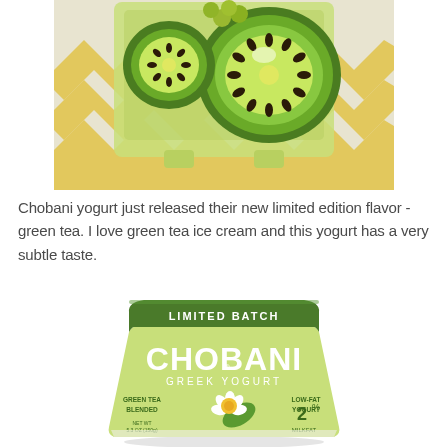[Figure (photo): Photo of kiwi fruit slices in a green plastic container/tray on a yellow and white chevron patterned surface]
Chobani yogurt just released their new limited edition flavor - green tea. I love green tea ice cream and this yogurt has a very subtle taste.
[Figure (photo): Chobani Greek Yogurt Limited Batch Green Tea Blended container, low-fat yogurt, 2% milkfat, 5.3 oz, with a white camellia flower on the label]